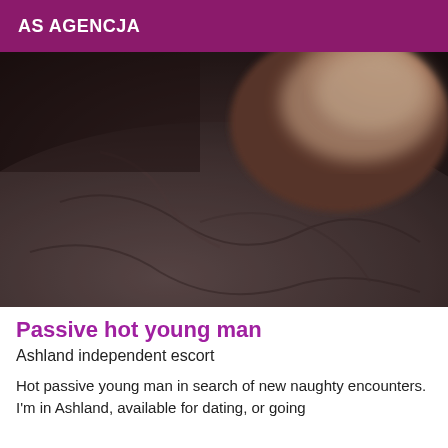AS AGENCJA
[Figure (photo): Close-up photo of a person lying on grey bedding, partial body visible with skin and fabric in low light]
Passive hot young man
Ashland independent escort
Hot passive young man in search of new naughty encounters. I'm in Ashland, available for dating, or going